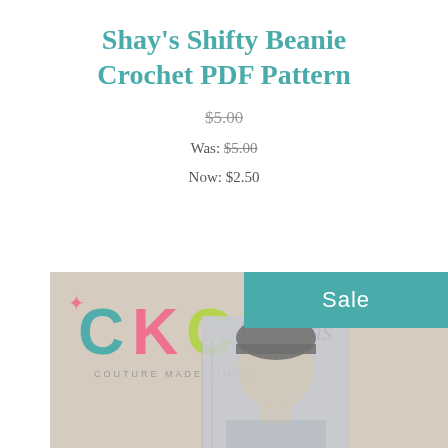Shay's Shifty Beanie Crochet PDF Pattern
$5.00
Was: $5.00
Now: $2.50
[Figure (photo): CKC Patterns product page image showing the CKC Patterns logo with 'Couture Made Simple' tagline and a young boy wearing a beanie hat, with a teal 'Sale' badge overlay in the upper right.]